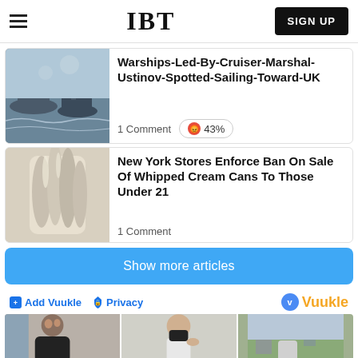IBT | SIGN UP
Warships-Led-By-Cruiser-Marshal-Ustinov-Spotted-Sailing-Toward-UK
1 Comment   😡 43%
New York Stores Enforce Ban On Sale Of Whipped Cream Cans To Those Under 21
1 Comment
Show more articles
Add Vuukle   Privacy   Vuukle